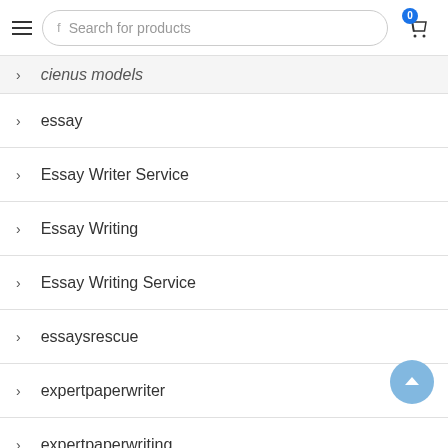Search for products
cienus models
essay
Essay Writer Service
Essay Writing
Essay Writing Service
essaysrescue
expertpaperwriter
expertpaperwriting
Foreign Brides Club
Foreign Marriage Agency
Foreign Wives Online